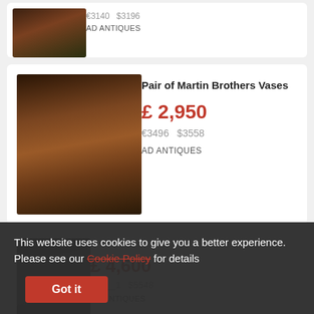[Figure (photo): Partial top of a ceramic vase with floral decoration, dark background]
€3140   $3196
AD ANTIQUES
[Figure (photo): Pair of Martin Brothers Vases with orange floral decoration on dark background]
Pair of Martin Brothers Vases
£ 2,950
€3496   $3558
AD ANTIQUES
[Figure (photo): Partial view of a dark ceramic vase]
£ 4,600
€...1   $5548
AD ANTIQUES
This website uses cookies to give you a better experience. Please see our Cookie Policy for details
Got it